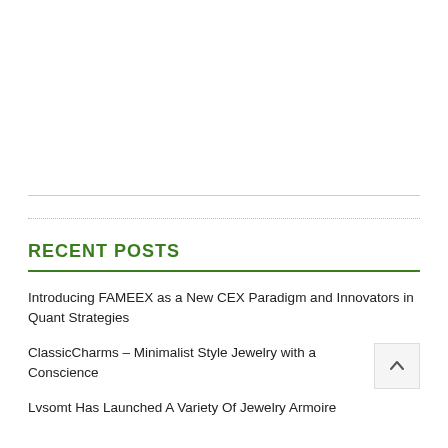RECENT POSTS
Introducing FAMEEX as a New CEX Paradigm and Innovators in Quant Strategies
ClassicCharms – Minimalist Style Jewelry with a Conscience
Lvsomt Has Launched A Variety Of Jewelry Armoire